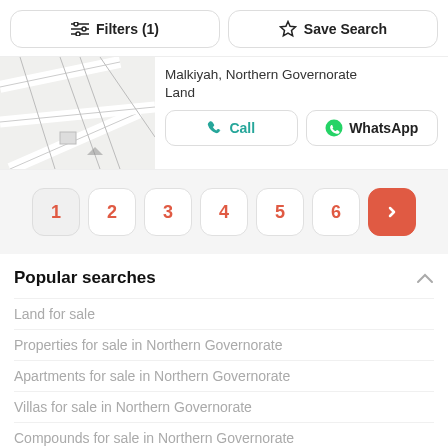[Figure (screenshot): Filters (1) and Save Search toolbar buttons at top]
[Figure (map): Partial map/land plot diagram showing road lines and lot boundaries]
Malkiyah, Northern Governorate
Land
Call
WhatsApp
1
2
3
4
5
6
Popular searches
Land for sale
Properties for sale in Northern Governorate
Apartments for sale in Northern Governorate
Villas for sale in Northern Governorate
Compounds for sale in Northern Governorate
Land for sale in Northern Governorate
Properties for rent in Northern Governorate